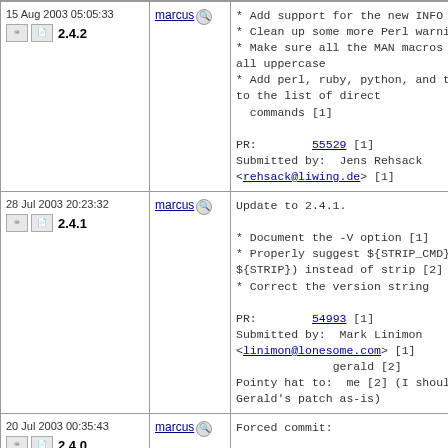| Date/Version | User | Message |
| --- | --- | --- |
| 15 Aug 2003 05:05:33
2.4.2 | marcus | * Add support for the new INFO ma
* Clean up some more Perl warnings
* Make sure all the MAN macros are
all uppercase
* Add perl, ruby, python, and the
to the list of direct
  commands [1]

PR:         55529 [1]
Submitted by:  Jens Rehsack
<rehsack@liwing.de> [1] |
| 28 Jul 2003 20:23:32
2.4.1 | marcus | Update to 2.4.1.

* Document the -V option [1]
* Properly suggest ${STRIP_CMD} (o
${STRIP}) instead of strip [2]
* Correct the version string

PR:         54993 [1]
Submitted by:  Mark Linimon
<linimon@lonesome.com> [1]
               gerald [2]
Pointy hat to:  me [2] (I should h
Gerald's patch as-is) |
| 20 Jul 2003 00:35:43
2.4.0 | marcus | Forced commit:

Allow for different Perl paths. |